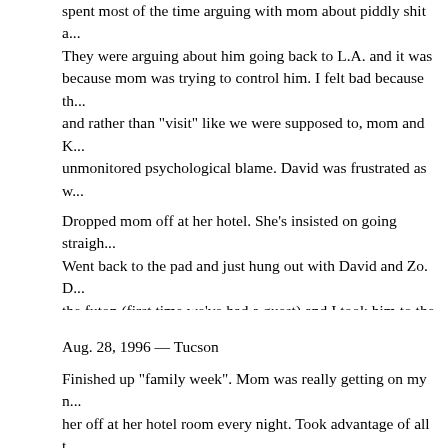spent most of the time arguing with mom about piddly shit a... They were arguing about him going back to L.A. and it was because mom was trying to control him. I felt bad because t... and rather than "visit" like we were supposed to, mom and K... unmonitored psychological blame. David was frustrated as w... He brought Kevin pictures of Annika but Kevin was too wra... seemed very positive, almost too positive. Not at humble. I'm... Kevin and believing him when his therapist and Roger say th... his problem and is totally manipulating us. For the first part ... contact" with Kevin.
Dropped mom off at her hotel. She's insisted on going straigh... Went back to the pad and just hung out with David and Zo. D... the futon (first time we've had a guest) and I took him to the... Picked up mom and went to the first day of "family week".
Aug. 28, 1996 — Tucson
Finished up "family week". Mom was really getting on my n... her off at her hotel room every night. Took advantage of all t... communicate to her that if we were ever to see eye to eye an... adults, she would have to seek out help for her marijuana d...